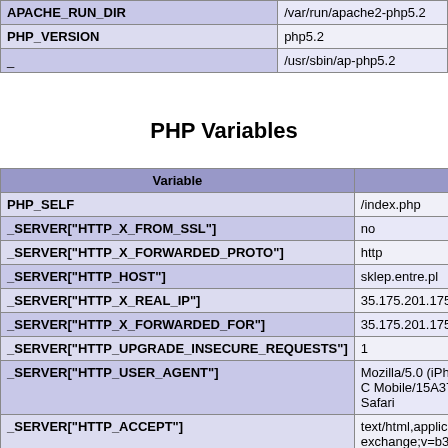| Variable | Value |
| --- | --- |
| APACHE_RUN_DIR | /var/run/apache2-php5.2 |
| PHP_VERSION | php5.2 |
| _ | /usr/sbin/ap-php5.2 |
PHP Variables
| Variable |  |
| --- | --- |
| PHP_SELF | /index.php |
| _SERVER["HTTP_X_FROM_SSL"] | no |
| _SERVER["HTTP_X_FORWARDED_PROTO"] | http |
| _SERVER["HTTP_HOST"] | sklep.entre.pl |
| _SERVER["HTTP_X_REAL_IP"] | 35.175.201.175 |
| _SERVER["HTTP_X_FORWARDED_FOR"] | 35.175.201.175 |
| _SERVER["HTTP_UPGRADE_INSECURE_REQUESTS"] | 1 |
| _SERVER["HTTP_USER_AGENT"] | Mozilla/5.0 (iPhone; C Mobile/15A372 Safari |
| _SERVER["HTTP_ACCEPT"] | text/html,application/x exchange;v=b3;q=0.9 |
| _SERVER["HTTP_ACCEPT_ENCODING"] | gzip, deflate |
| _SERVER["HTTP_ACCEPT_LANGUAGE"] | en-US |
| _SERVER["PATH"] | /usr/local/bin:/usr/bin: |